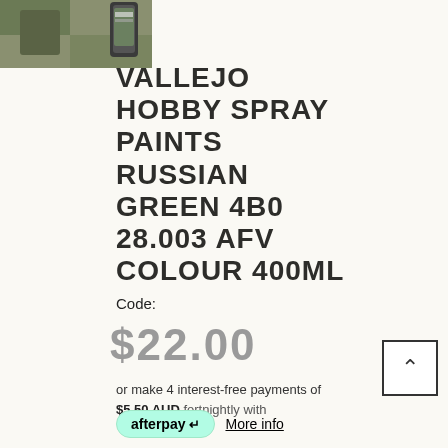[Figure (photo): Product thumbnail image showing Vallejo hobby spray paint can with green camouflage coloring]
VALLEJO HOBBY SPRAY PAINTS RUSSIAN GREEN 4B0 28.003 AFV COLOUR 400ML
Code:
$22.00
or make 4 interest-free payments of $5.50 AUD fortnightly with
afterpay  More info